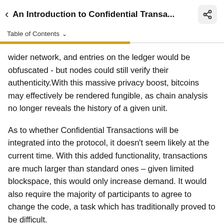An Introduction to Confidential Transa...
Table of Contents
wider network, and entries on the ledger would be obfuscated - but nodes could still verify their authenticity.With this massive privacy boost, bitcoins may effectively be rendered fungible, as chain analysis no longer reveals the history of a given unit.
As to whether Confidential Transactions will be integrated into the protocol, it doesn't seem likely at the current time. With this added functionality, transactions are much larger than standard ones – given limited blockspace, this would only increase demand. It would also require the majority of participants to agree to change the code, a task which has traditionally proved to be difficult.